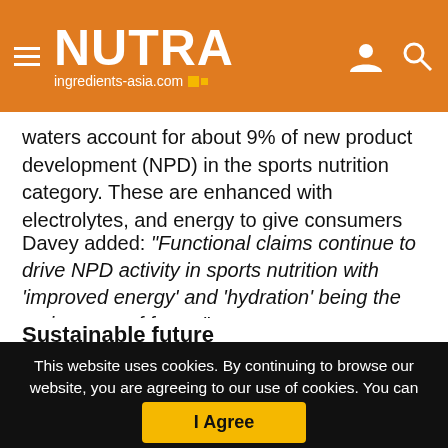NUTRA ingredients-asia.com
waters account for about 9% of new product development (NPD) in the sports nutrition category. These are enhanced with electrolytes, and energy to give consumers the boost they need.
Davey added: “Functional claims continue to drive NPD activity in sports nutrition with ‘improved energy’ and ‘hydration’ being the main areas of focus.”
Sustainable future
This website uses cookies. By continuing to browse our website, you are agreeing to our use of cookies. You can learn more about cookies by visiting our privacy & cookies policy page.
I Agree